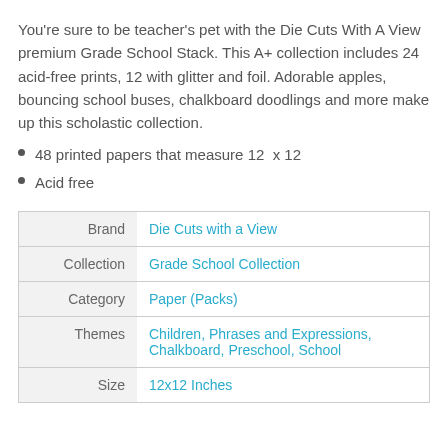You're sure to be teacher's pet with the Die Cuts With A View premium Grade School Stack. This A+ collection includes 24 acid-free prints, 12 with glitter and foil. Adorable apples, bouncing school buses, chalkboard doodlings and more make up this scholastic collection.
48 printed papers that measure 12  x 12
Acid free
|  |  |
| --- | --- |
| Brand | Die Cuts with a View |
| Collection | Grade School Collection |
| Category | Paper (Packs) |
| Themes | Children, Phrases and Expressions, Chalkboard, Preschool, School |
| Size | 12x12 Inches |